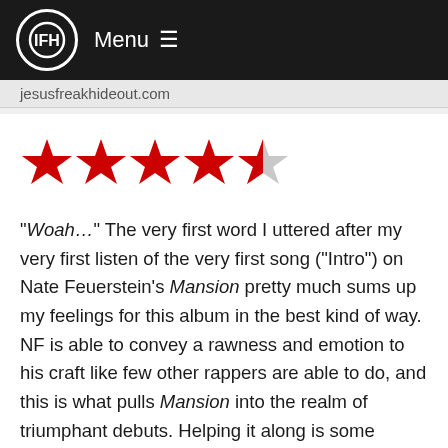Menu ☰
jesusfreakhideout.com
[Figure (other): 4.5 out of 5 stars rating shown as red star icons]
"Woah…" The very first word I uttered after my very first listen of the very first song ("Intro") on Nate Feuerstein's Mansion pretty much sums up my feelings for this album in the best kind of way. NF is able to convey a rawness and emotion to his craft like few other rappers are able to do, and this is what pulls Mansion into the realm of triumphant debuts. Helping it along is some impressive production that packs almost as much a punch as NF's intensity. Unfortunately, two possibly significant drawbacks include NF's sometimes overbearing tendency to praise his own rapping abilities (contrasting sharply with his humility and self-acknowledged flaws in other aspects of his life), and his almost plagiaristic similarity to Eminem. Nevertheless, Mansion remains an utterly and helplessly enjoyable album